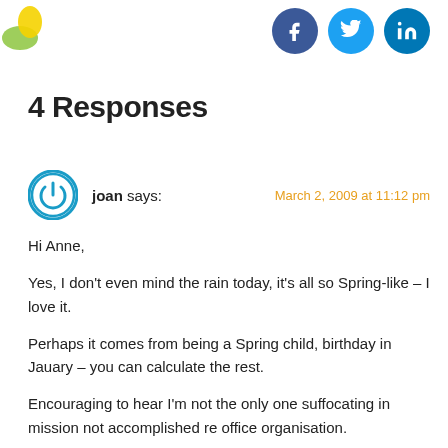[Figure (logo): Partial logo image in top-left corner, green and yellow colors]
[Figure (illustration): Social media icons: Facebook (dark blue circle with f), Twitter (light blue circle with bird), LinkedIn (blue circle with in)]
4 Responses
joan says:
March 2, 2009 at 11:12 pm
Hi Anne,
Yes, I don't even mind the rain today, it's all so Spring-like – I love it.
Perhaps it comes from being a Spring child, birthday in Jauary – you can calculate the rest.
Encouraging to hear I'm not the only one suffocating in mission not accomplished re office organisation.
So, here's to us and our big office Spring-clean, and when it's over